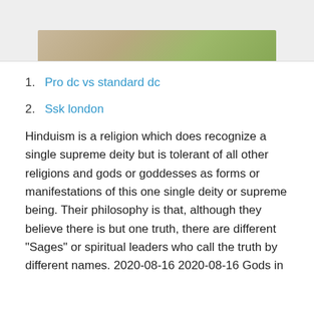[Figure (photo): Partial view of a stone or rock surface with green plant/moss, cropped at top of page]
Pro dc vs standard dc
Ssk london
Hinduism is a religion which does recognize a single supreme deity but is tolerant of all other religions and gods or goddesses as forms or manifestations of this one single deity or supreme being. Their philosophy is that, although they believe there is but one truth, there are different "Sages" or spiritual leaders who call the truth by different names. 2020-08-16 2020-08-16 Gods in